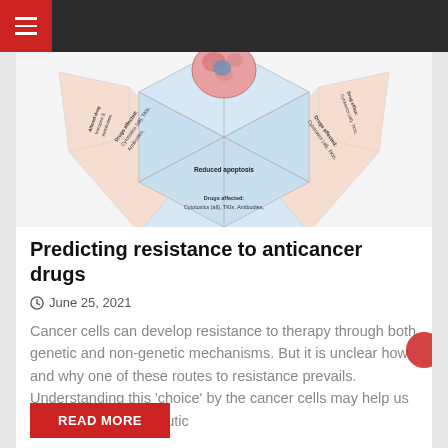[Figure (infographic): Diagram showing cancer cell resistance mechanisms in a hexagonal/pentagon flower arrangement. Center shows a pink cancer cell. Surrounding petals show different resistance mechanisms with labels including 'Reduced apoptosis', 'Drugs affected: Cytotoxics (all), TKIs, Antibodies,' and other rotated text about drug resistance mechanisms. Blue and peach colored sections.]
Predicting resistance to anticancer drugs
June 25, 2021
Cancer cells can develop resistance to therapy through both genetic and non-genetic mechanisms. But it is unclear how and why one of these routes to resistance prevails. Understanding this 'choice' by the cancer cells may help us devise better therapeutic
READ MORE